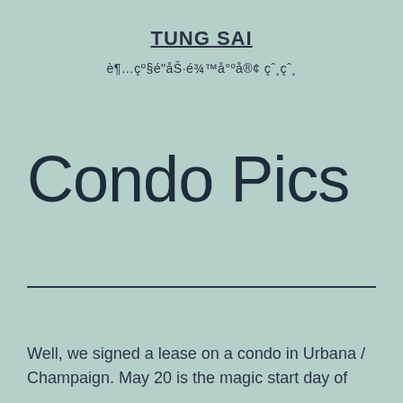TUNG SAI
è¶…çº§é"åŠ›é¾™å°ºå®¢ çˆ¸çˆ¸
Condo Pics
Well, we signed a lease on a condo in Urbana / Champaign. May 20 is the magic start day of